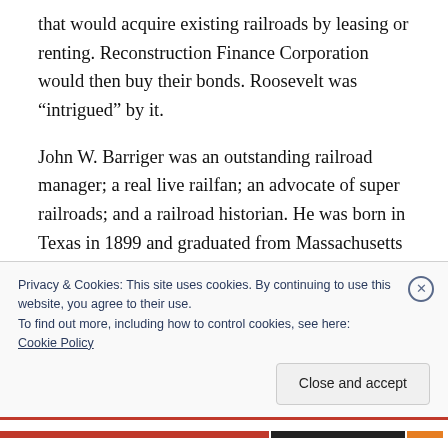that would acquire existing railroads by leasing or renting. Reconstruction Finance Corporation would then buy their bonds. Roosevelt was “intrigued” by it.
John W. Barriger was an outstanding railroad manager; a real live railfan; an advocate of super railroads; and a railroad historian. He was born in Texas in 1899 and graduated from Massachusetts Institute of Technology. Beginning with the Pennsylvania, he worked for
Privacy & Cookies: This site uses cookies. By continuing to use this website, you agree to their use.
To find out more, including how to control cookies, see here:
Cookie Policy
Close and accept